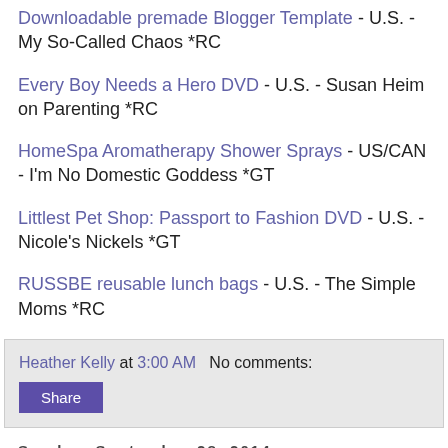Downloadable premade Blogger Template - U.S. - My So-Called Chaos *RC
Every Boy Needs a Hero DVD - U.S. - Susan Heim on Parenting *RC
HomeSpa Aromatherapy Shower Sprays - US/CAN - I'm No Domestic Goddess *GT
Littlest Pet Shop: Passport to Fashion DVD - U.S. - Nicole's Nickels *GT
RUSSBE reusable lunch bags - U.S. - The Simple Moms *RC
Heather Kelly at 3:00 AM   No comments:
Share
Sunday, September 28, 2014
$100 Minted.com Gift Code #Giveaway